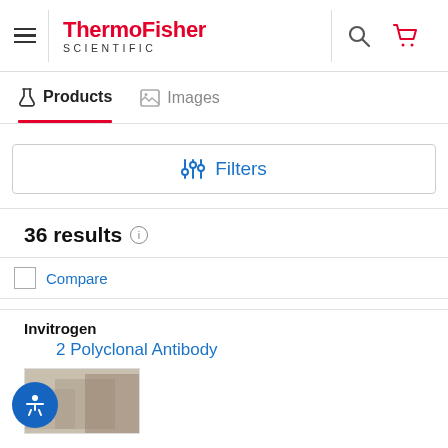[Figure (logo): ThermoFisher Scientific logo with hamburger menu, search and cart icons in header]
Products   Images
[Figure (other): Filters button with slider icon]
36 results
Compare
Invitrogen
2 Polyclonal Antibody
[Figure (photo): Product image thumbnail (partial, cut off at bottom)]